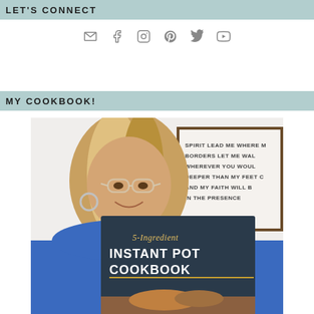LET'S CONNECT
[Figure (infographic): Social media icons: email, facebook, instagram, pinterest, twitter, youtube]
MY COOKBOOK!
[Figure (photo): Woman with glasses holding a cookbook titled '5-Ingredient Instant Pot Cookbook for Two', with a sign in the background reading 'SPIRIT LEAD ME WHERE MY FEET COULD WALK / BORDERS LET ME WALK / WHEREVER YOU WOULD / DEEPER THAN MY FEET / AND MY FAITH WILL B / IN THE PRESENCE']